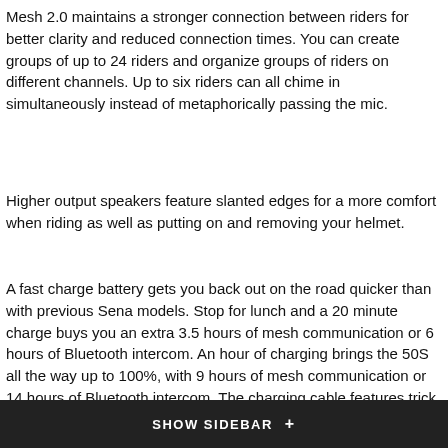Mesh 2.0 maintains a stronger connection between riders for better clarity and reduced connection times. You can create groups of up to 24 riders and organize groups of riders on different channels. Up to six riders can all chime in simultaneously instead of metaphorically passing the mic.
Higher output speakers feature slanted edges for a more comfort when riding as well as putting on and removing your helmet.
A fast charge battery gets you back out on the road quicker than with previous Sena models. Stop for lunch and a 20 minute charge buys you an extra 3.5 hours of mesh communication or 6 hours of Bluetooth intercom. An hour of charging brings the 50S all the way up to 100%, with 9 hours of mesh communication or 14 hours of Bluetooth intercom. The charging cable features trick WiFi integration that automatically updates the 50S with the latest firmware from Sena. Any time Sena makes an update to the 50S software package, your 50S receives that update the very next time you charge it up in the presence of WiFi.
50S Audio multitasking fades music out to fade in GPS directions or incoming calls, then seamlessly fades the music back in. Your ride will be as uninterrupted as possible.
SHOW SIDEBAR +